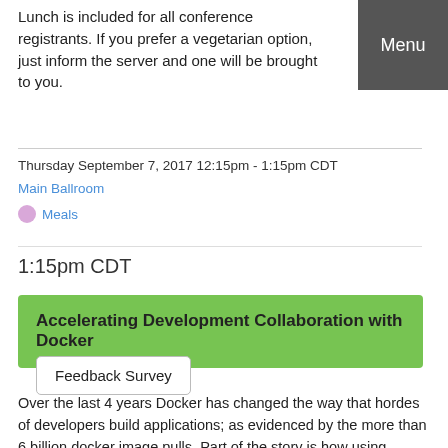Lunch is included for all conference registrants. If you prefer a vegetarian option, just inform the server and one will be brought to you.
Menu
Thursday September 7, 2017 12:15pm - 1:15pm CDT
Main Ballroom
Meals
1:15pm CDT
Accelerating Development Collaboration with Docker
Feedback Survey
Over the last 4 years Docker has changed the way that hordes of developers build applications; as evidenced by the more than 6 billion docker image pulls. Part of the story is how using containers allow developers to share full